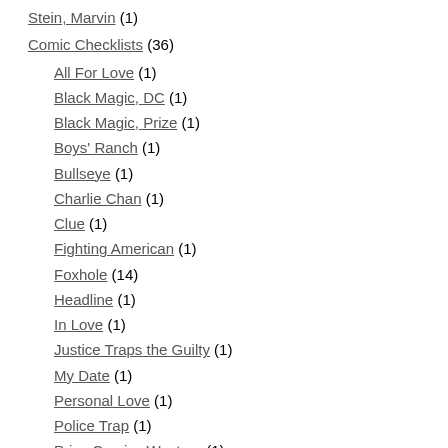Stein, Marvin (1)
Comic Checklists (36)
All For Love (1)
Black Magic, DC (1)
Black Magic, Prize (1)
Boys' Ranch (1)
Bullseye (1)
Charlie Chan (1)
Clue (1)
Fighting American (1)
Foxhole (14)
Headline (1)
In Love (1)
Justice Traps the Guilty (1)
My Date (1)
Personal Love (1)
Police Trap (1)
Prize Comics Western (1)
Real West Romance (1)